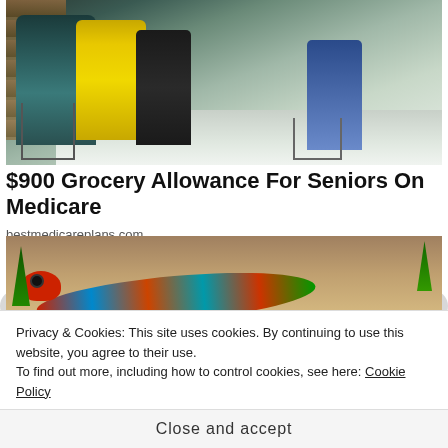[Figure (photo): Elderly shoppers in a grocery store aisle with shopping carts]
$900 Grocery Allowance For Seniors On Medicare
bestmedicareplans.com
[Figure (photo): Colorful lizard or snake on gravel ground with green grass]
Privacy & Cookies: This site uses cookies. By continuing to use this website, you agree to their use.
To find out more, including how to control cookies, see here: Cookie Policy
Close and accept